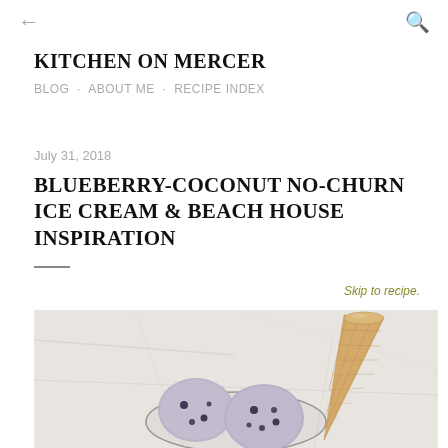← KITCHEN ON MERCER | BLOG · ABOUT ME · RECIPE INDEX →search
KITCHEN ON MERCER
BLOG · ABOUT ME · RECIPE INDEX
July 31, 2018
BLUEBERRY-COCONUT NO-CHURN ICE CREAM & BEACH HOUSE INSPIRATION
Skip to recipe.
[Figure (photo): Bowl of blueberry-coconut ice cream scoops with a waffle cone propped inside, on a marble surface, photographed from above at slight angle.]